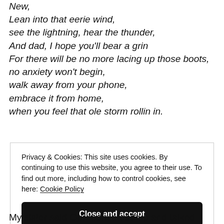New,
Lean into that eerie wind,
see the lightning, hear the thunder,
And dad, I hope you'll bear a grin
For there will be no more lacing up those boots,
no anxiety won't begin,
walk away from your phone,
embrace it from home,
when you feel that ole storm rollin in.
Privacy & Cookies: This site uses cookies. By continuing to use this website, you agree to their use. To find out more, including how to control cookies, see here: Cookie Policy
Close and accept
My sister said Our mom stood up and talked